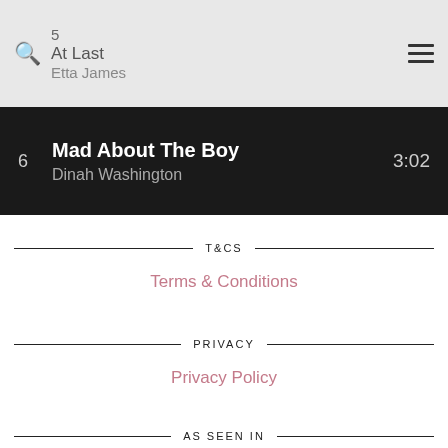5  At Last  Etta James  2...
6  Mad About The Boy  Dinah Washington  3:02
T&CS
Terms & Conditions
PRIVACY
Privacy Policy
AS SEEN IN